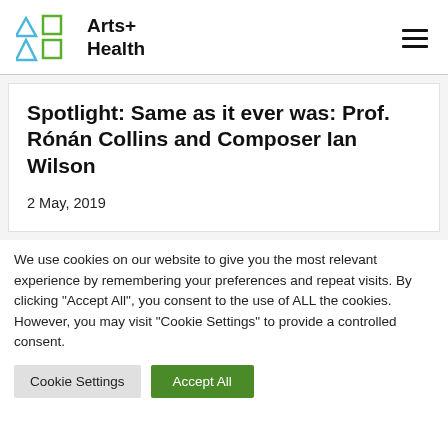Arts+ Health
Spotlight: Same as it ever was: Prof. Rónán Collins and Composer Ian Wilson
2 May, 2019
We use cookies on our website to give you the most relevant experience by remembering your preferences and repeat visits. By clicking "Accept All", you consent to the use of ALL the cookies. However, you may visit "Cookie Settings" to provide a controlled consent.